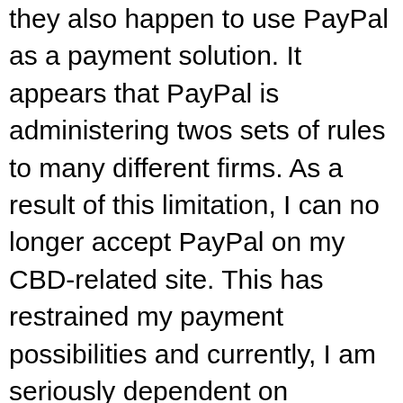they also happen to use PayPal as a payment solution. It appears that PayPal is administering twos sets of rules to many different firms. As a result of this limitation, I can no longer accept PayPal on my CBD-related site. This has restrained my payment possibilities and currently, I am seriously dependent on Cryptocurrency payments and direct bank transfers. I have spoken with a lawyer from a Magic Circle law practice in The city of london and they explained that what PayPal is doing is altogether not legal and discriminatory as it should be applying a consistent standard to all companies. I am still to speak to a different legal representative from a US law office in The city of london to see what PayPal's legal position is in the United States. For the time